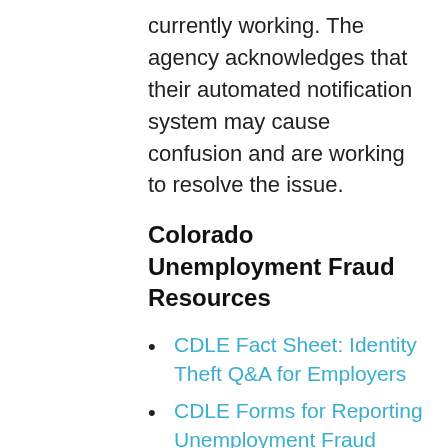currently working. The agency acknowledges that their automated notification system may cause confusion and are working to resolve the issue.
Colorado Unemployment Fraud Resources
CDLE Fact Sheet: Identity Theft Q&A for Employers
CDLE Forms for Reporting Unemployment Fraud (links to employer & employee fraud reporting resources)
Unemployment Benefits Scam: What it is, What to do (handout for employees)